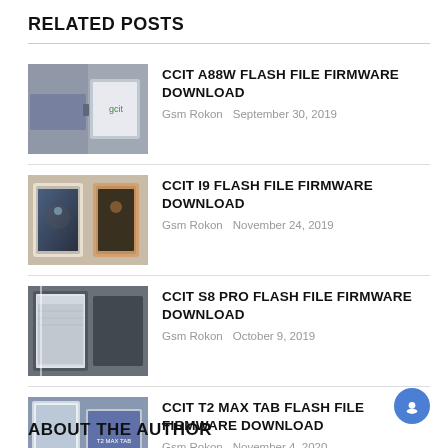RELATED POSTS
CCIT A88W FLASH FILE FIRMWARE DOWNLOAD
Gsm Rokon   September 30, 2019
CCIT I9 FLASH FILE FIRMWARE DOWNLOAD
Gsm Rokon   November 24, 2019
CCIT S8 PRO FLASH FILE FIRMWARE DOWNLOAD
Gsm Rokon   October 9, 2019
CCIT T2 MAX TAB FLASH FILE FIRMWARE DOWNLOAD
Gsm Rokon   November 4, 2020
ABOUT THE AUTHOR